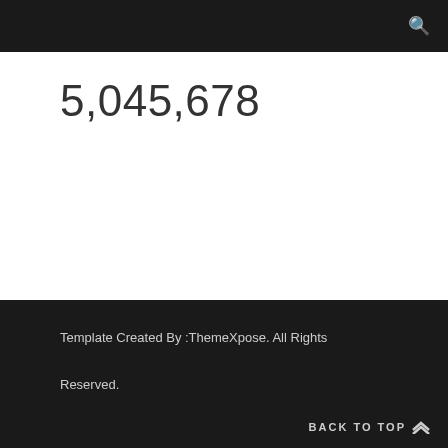🔍
5,045,678
Template Created By :ThemeXpose. All Rights Reserved.
BACK TO TOP ❯